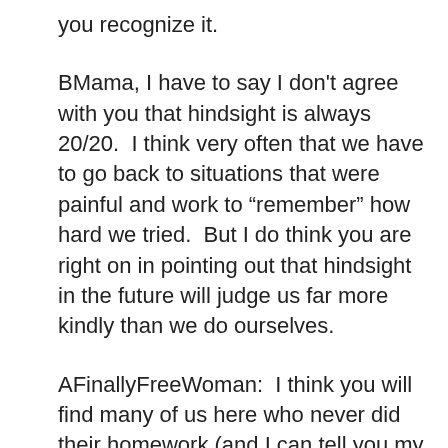you recognize it.
BMama, I have to say I don't agree with you that hindsight is always 20/20.  I think very often that we have to go back to situations that were painful and work to “remember” how hard we tried.  But I do think you are right on in pointing out that hindsight in the future will judge us far more kindly than we do ourselves.
AFinallyFreeWoman:  I think you will find many of us here who never did their homework (and I can tell you my son never did his!)